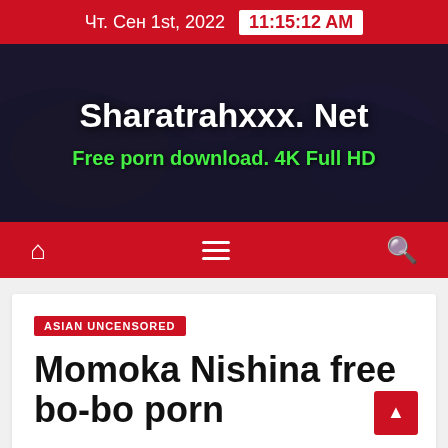Чт. Сен 1st, 2022  11:15:12 AM
[Figure (illustration): Website banner with dark background showing illustrated figure, site title 'Sharatrahxxx. Net' in white bold text, subtitle 'Free porn download. 4K Full HD' in green text]
Navigation bar with home icon, hamburger menu, search icon
ASIAN UNCENSORED
Momoka Nishina free bo-bo porn